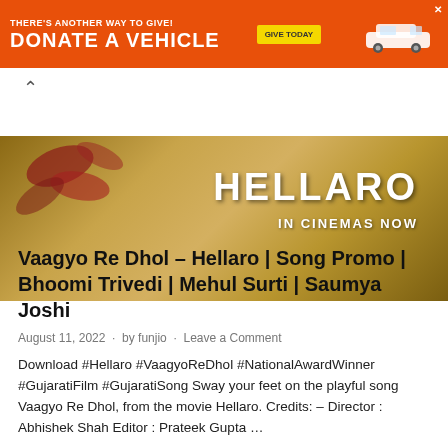[Figure (other): Orange advertisement banner: 'THERE'S ANOTHER WAY TO GIVE! DONATE A VEHICLE GIVE TODAY' with a car image on the right]
[Figure (other): Hellaro movie promotional banner image with golden/brown background, text 'HELLARO IN CINEMAS NOW']
Vaagyo Re Dhol – Hellaro | Song Promo | Bhoomi Trivedi | Mehul Surti | Saumya Joshi
August 11, 2022 · by funjio · Leave a Comment
Download #Hellaro #VaagyoReDhol #NationalAwardWinner #GujaratiFilm #GujaratiSong Sway your feet on the playful song Vaagyo Re Dhol, from the movie Hellaro. Credits: – Director : Abhishek Shah Editor : Prateek Gupta …
READ MORE